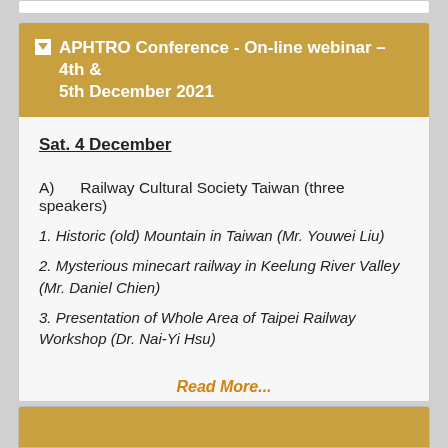▲ APHTRO Conference - On-line webinar – 4th & 5th December 2021
Sat. 4 December
A)      Railway Cultural Society Taiwan (three speakers)
1. Historic (old) Mountain in Taiwan (Mr. Youwei Liu)
2. Mysterious minecart railway in Keelung River Valley (Mr. Daniel Chien)
3. Presentation of Whole Area of Taipei Railway Workshop (Dr. Nai-Yi Hsu)
Read More...